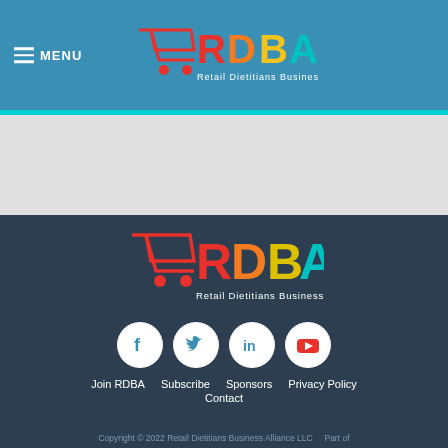MENU — Retail Dietitians Business Alliance header with logo
[Figure (logo): RDBA logo in footer — shopping cart icon with colorful RDBA letters and subtitle Retail Dietitians Business Alliance]
[Figure (infographic): Social media icons: Facebook, Twitter, LinkedIn, YouTube]
Join RDBA
Subscribe
Sponsors
Privacy Policy
Contact
Copyright © 2022 Retail Dietitians Business Alliance LLC    Part of